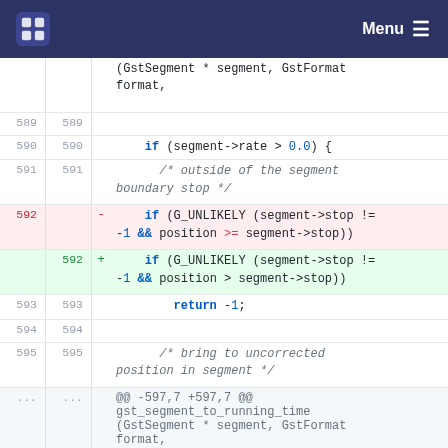Menu (navigation bar with logo)
(GstSegment * segment, GstFormat format,
589  589
590  590    if (segment->rate > 0.0) {
591  591      /* outside of the segment boundary stop */
592  -  if (G_UNLIKELY (segment->stop != -1 && position >= segment->stop))
592  +  if (G_UNLIKELY (segment->stop != -1 && position > segment->stop))
593  593      return -1;
594  594
595  595      /* bring to uncorrected position in segment */
...  ...  @@ -597,7 +597,7 @@ gst_segment_to_running_time (GstSegment * segment, GstFormat format,
597  597      } else {
598  598      /* cannot continue if no stop